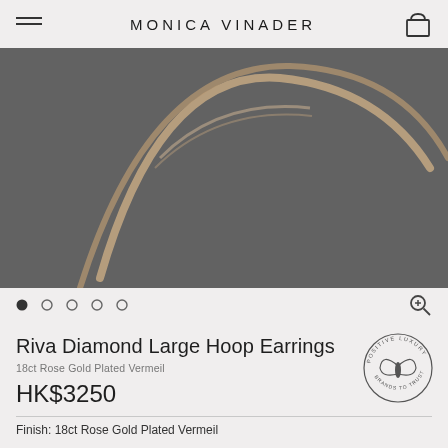MONICA VINADER
[Figure (photo): Close-up photo of Riva Diamond Large Hoop Earrings in 18ct Rose Gold Plated Vermeil, showing two rose gold hoop earrings with diamond detailing on a grey background]
Riva Diamond Large Hoop Earrings
18ct Rose Gold Plated Vermeil
HK$3250
Finish: 18ct Rose Gold Plated Vermeil